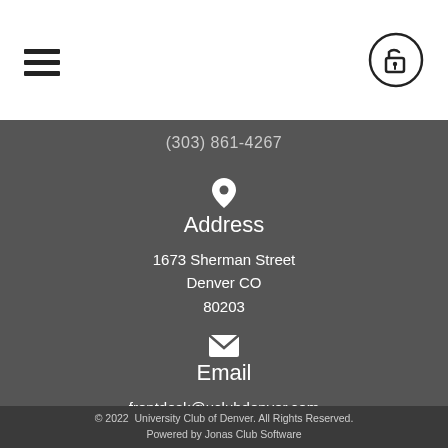(303) 861-4267
Address
1673 Sherman Street
Denver CO
80203
Email
frontdesk@uclubdenver.com
© 2022  University Club of Denver. All Rights Reserved.
Powered by Jonas Club Software